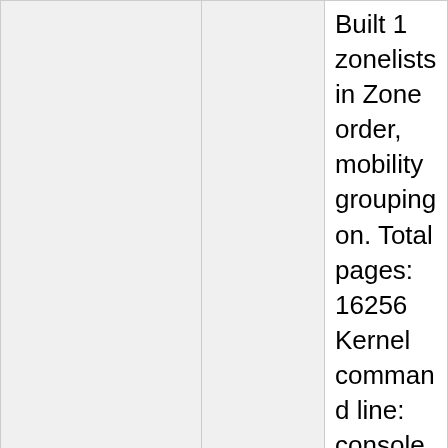|  |  | Built 1 zonelists in Zone order, mobility grouping on. Total pages: 16256 Kernel command line: console=ttyS0,11520 root=31:04 rootfstype=squashfs init=/init |